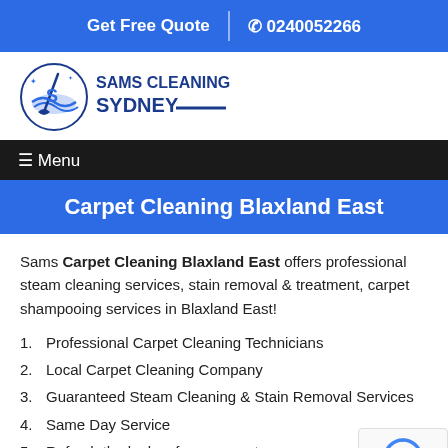Get Free Quote | 0240052266
[Figure (logo): Sams Cleaning Sydney logo with broom and wave icon in circle, blue and dark navy text]
Menu
Carpet Cleaning Blaxland East
Sams Carpet Cleaning Blaxland East offers professional steam cleaning services, stain removal & treatment, carpet shampooing services in Blaxland East!
Professional Carpet Cleaning Technicians
Local Carpet Cleaning Company
Guaranteed Steam Cleaning & Stain Removal Services
Same Day Service
Refresh the looks of your carpets
Eco-Friendly Carpet Cleaning Chemicals